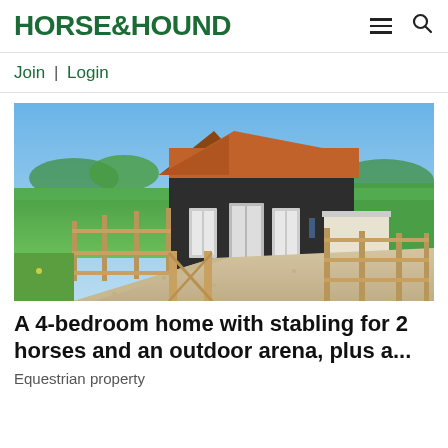HORSE&HOUND
Join | Login
[Figure (photo): Exterior photo of a dark timber-clad stable building with a rust-coloured corrugated roof, surrounded by wooden post-and-rail fencing and a gravel driveway, with green fields and blue sky in the background.]
A 4-bedroom home with stabling for 2 horses and an outdoor arena, plus a...
Equestrian property